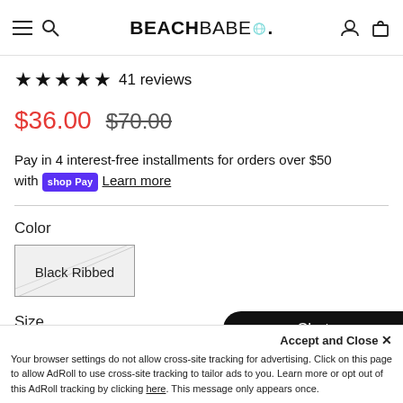BEACHBABE. navigation header with hamburger, search, account, and cart icons
★★★★★ 41 reviews
$36.00  $70.00
Pay in 4 interest-free installments for orders over $50 with shop Pay Learn more
Color
Black Ribbed
Size
Accept and Close ×
Your browser settings do not allow cross-site tracking for advertising. Click on this page to allow AdRoll to use cross-site tracking to tailor ads to you. Learn more or opt out of this AdRoll tracking by clicking here. This message only appears once.